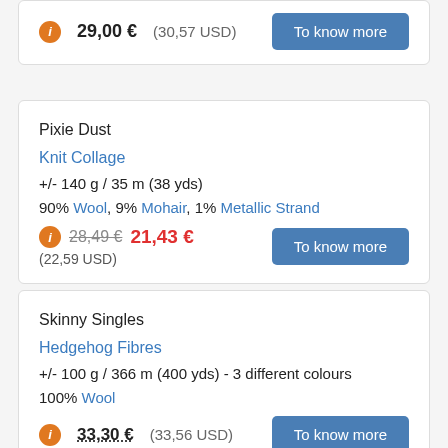29,00 € (30,57 USD)
To know more
Pixie Dust
Knit Collage
+/- 140 g / 35 m (38 yds)
90% Wool, 9% Mohair, 1% Metallic Strand
28,49 €  21,43 €  (22,59 USD)
To know more
Skinny Singles
Hedgehog Fibres
+/- 100 g / 366 m (400 yds) - 3 different colours
100% Wool
33,30 € (33,56 USD)
To know more